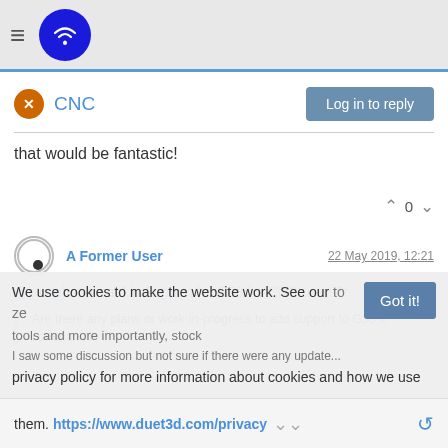CNC — Log in to reply
that would be fantastic!
0
A Former User — 22 May 2019, 12:21
@plusphenol said in Support for G38 for CNC users?:
Are there any plans or work-in-progress to add support to G38.x command?
We use cookies to make the website work. See our privacy policy for more information about cookies and how we use them. https://www.duet3d.com/privacy
Got it!